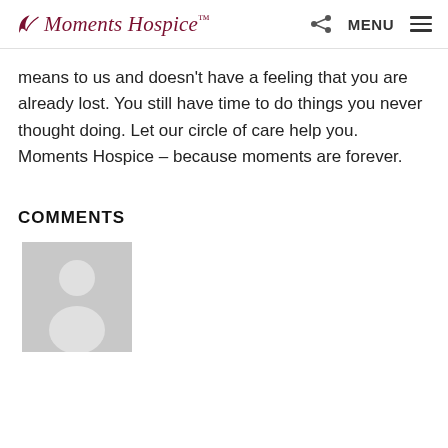Moments Hospice — MENU
means to us and doesn't have a feeling that you are already lost. You still have time to do things you never thought doing. Let our circle of care help you. Moments Hospice – because moments are forever.
COMMENTS
[Figure (illustration): Default user avatar placeholder — grey square with white silhouette of a person (head and shoulders)]